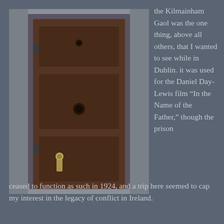[Figure (photo): A photograph of a heavy, aged wooden prison cell door set into a stone wall with metal fixtures and a keyhole. The door appears to be at Kilmainham Gaol, Dublin.]
the Kilmainham Gaol was the one thing, above all others, that I wanted to see while in Dublin. it was used for the Daniel Day-Lewis film “In the Name of the Father,” though the prison ceased to function as such in 1924, and a trip here seemed to cap my interest in the legacy of conflict in Ireland.